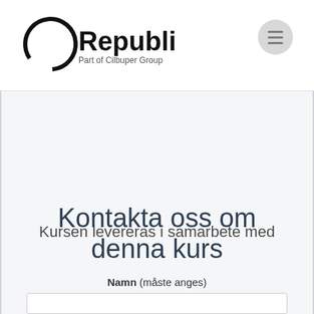[Figure (logo): Republify logo with circular C mark and text 'Republify' in bold, subtitle 'Part of Cilbuper Group']
[Figure (other): Hamburger menu icon - circular grey button with three horizontal lines]
Kursen levereras i samarbete med
Kontakta oss om denna kurs
Namn (måste anges)